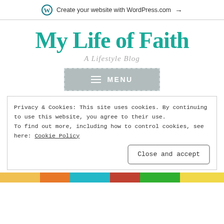Create your website with WordPress.com →
My Life of Faith
A Lifestyle Blog
[Figure (other): MENU button with hamburger icon, grey background with dashed border]
Privacy & Cookies: This site uses cookies. By continuing to use this website, you agree to their use.
To find out more, including how to control cookies, see here: Cookie Policy
Close and accept
[Figure (illustration): Colorful bottom strip illustration]